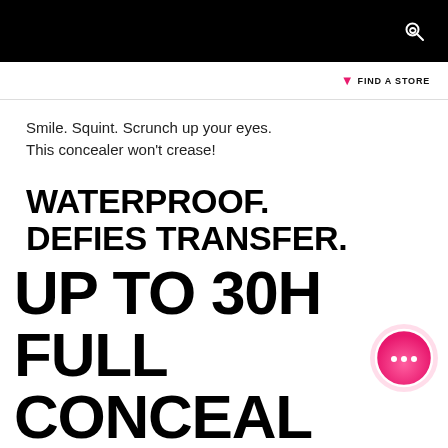FIND A STORE
Smile. Squint. Scrunch up your eyes. This concealer won't crease!
WATERPROOF. DEFIES TRANSFER.
Stay covered and confident, knowing your Super Stay concealer won't fade away.
[Figure (illustration): Share/upload icon]
[Figure (illustration): Pink chat bubble widget with three dots]
UP TO 30H FULL CONCEAL